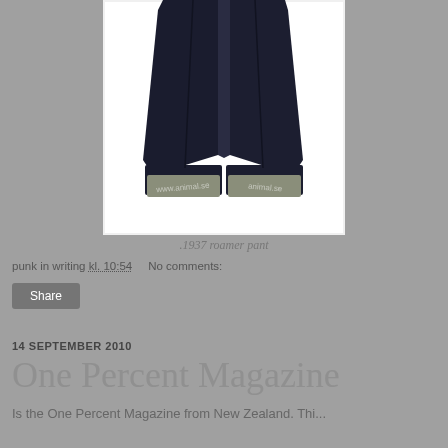[Figure (photo): Dark navy/black jeans (1937 roamer pant) laid flat on white background, showing the lower legs with cuffed/rolled hems revealing gray selvage denim interior. Watermark text visible on the fabric.]
.1937 roamer pant
punk in writing kl. 10:54    No comments:
Share
14 SEPTEMBER 2010
One Percent Magazine
Is the One Percent Magazine from New Zealand. Thi...